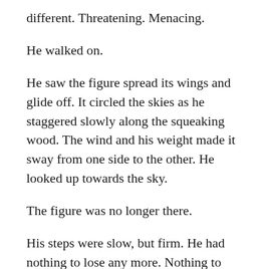different. Threatening. Menacing.
He walked on.
He saw the figure spread its wings and glide off. It circled the skies as he staggered slowly along the squeaking wood. The wind and his weight made it sway from one side to the other. He looked up towards the sky.
The figure was no longer there.
His steps were slow, but firm. He had nothing to lose any more. Nothing to live for.
A loud crash made the planks underneath him fall for a moment. He stood still to keep balance. Underneath he could see pieces of wood fall towards the abyss below. The dark